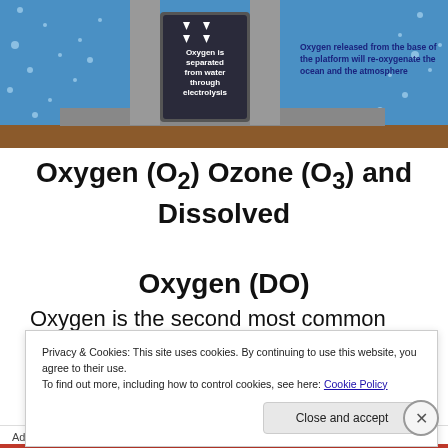[Figure (illustration): Diagram of an electrolysis platform on the ocean floor. Shows a tall central chamber labeled 'Oxygen is separated from water through electrolysis' with downward-pointing arrows inside. To the right, text reads 'Oxygen released from the base of the platform will re-oxygenate the ocean and the atmosphere'. Background is blue (ocean water with bubbles/particles), bottom is brown (seafloor). Gray structural platform visible.]
Oxygen (O2) Ozone (O3) and Dissolved Oxygen (DO)
Oxygen is the second most common component of
Privacy & Cookies: This site uses cookies. By continuing to use this website, you agree to their use.
To find out more, including how to control cookies, see here: Cookie Policy
Advertisements